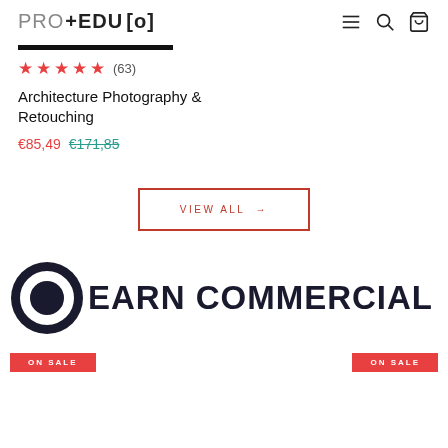PRO+EDU [o]
[Figure (other): Horizontal black bar separator]
★★★★★ (63)
Architecture Photography & Retouching
€85,49  €171,85
VIEW ALL →
EARN COMMERCIAL
ON SALE  ON SALE